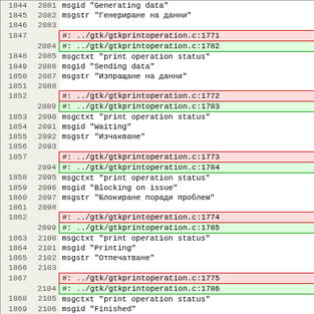| Line1 | Line2 | Content |
| --- | --- | --- |
| 1844 | 2081 | msgid "Generating data" |
| 1845 | 2082 | msgstr "Генериране на данни" |
| 1846 | 2083 |  |
| 1847 |  | #: ../gtk/gtkprintoperation.c:1771 |
|  | 2084 | #: ../gtk/gtkprintoperation.c:1782 |
| 1848 | 2085 | msgctxt "print operation status" |
| 1849 | 2086 | msgid "Sending data" |
| 1850 | 2087 | msgstr "Изпращане на данни" |
| 1851 | 2088 |  |
| 1852 |  | #: ../gtk/gtkprintoperation.c:1772 |
|  | 2089 | #: ../gtk/gtkprintoperation.c:1783 |
| 1853 | 2090 | msgctxt "print operation status" |
| 1854 | 2091 | msgid "Waiting" |
| 1855 | 2092 | msgstr "Изчакване" |
| 1856 | 2093 |  |
| 1857 |  | #: ../gtk/gtkprintoperation.c:1773 |
|  | 2094 | #: ../gtk/gtkprintoperation.c:1784 |
| 1858 | 2095 | msgctxt "print operation status" |
| 1859 | 2096 | msgid "Blocking on issue" |
| 1860 | 2097 | msgstr "Блокиране поради проблем" |
| 1861 | 2098 |  |
| 1862 |  | #: ../gtk/gtkprintoperation.c:1774 |
|  | 2099 | #: ../gtk/gtkprintoperation.c:1785 |
| 1863 | 2100 | msgctxt "print operation status" |
| 1864 | 2101 | msgid "Printing" |
| 1865 | 2102 | msgstr "Отпечатване" |
| 1866 | 2103 |  |
| 1867 |  | #: ../gtk/gtkprintoperation.c:1775 |
|  | 2104 | #: ../gtk/gtkprintoperation.c:1786 |
| 1868 | 2105 | msgctxt "print operation status" |
| 1869 | 2106 | msgid "Finished" |
| 1870 | 2107 | msgstr "Завършено" |